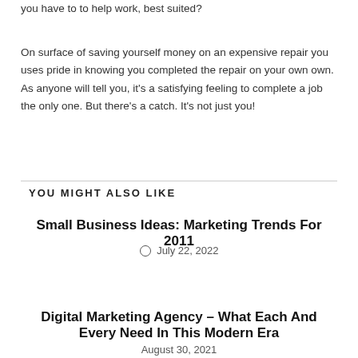you have to to help work, best suited?
On surface of saving yourself money on an expensive repair you uses pride in knowing you completed the repair on your own own. As anyone will tell you, it's a satisfying feeling to complete a job the only one. But there's a catch. It's not just you!
YOU MIGHT ALSO LIKE
Small Business Ideas: Marketing Trends For 2011
July 22, 2022
Digital Marketing Agency – What Each And Every Need In This Modern Era
August 30, 2021